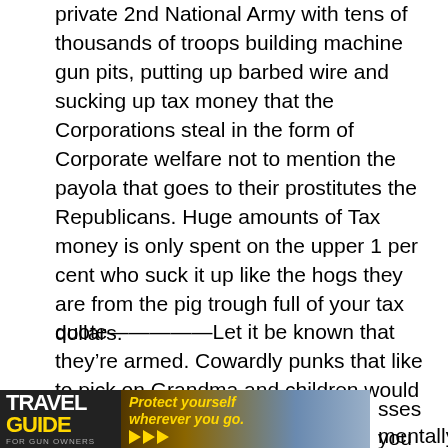private 2nd National Army with tens of thousands of troops building machine gun pits, putting up barbed wire and sucking up tax money that the Corporations steal in the form of Corporate welfare not to mention the payola that goes to their prostitutes the Republicans. Huge amounts of Tax money is only spent on the upper 1 per cent who suck it up like the hogs they are from the pig trough full of your tax dollars.
quote—————Let it be known that they’re armed. Cowardly punks that like to pick on Grandma and children would think twice. ————quote
[Figure (photo): Travel Guide for Gun Owners advertisement banner with text 'Protect yourself wherever you go.' and arrow icons, partially visible]
sses you mentally ill